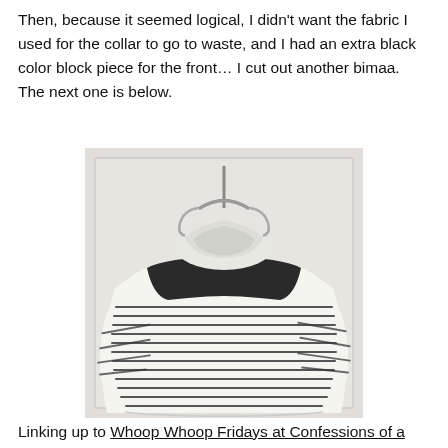Then, because it seemed logical, I didn't want the fabric I used for the collar to go to waste, and I had an extra black color block piece for the front… I cut out another bimaa.  The next one is below.
[Figure (photo): A white and black striped long-sleeve shirt with a black color block yoke/shoulder panel and a cowl/infinity scarf neck, hanging on a white hanger against a white cabinet door background.]
Linking up to Whoop Whoop Fridays at Confessions of a